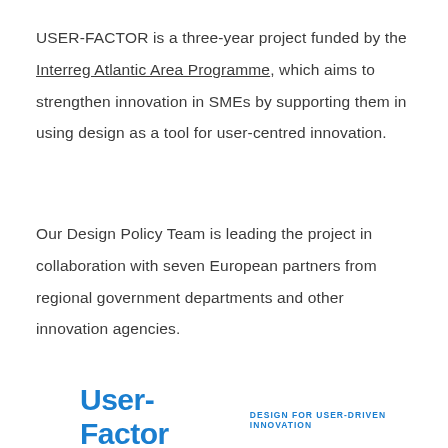USER-FACTOR is a three-year project funded by the Interreg Atlantic Area Programme, which aims to strengthen innovation in SMEs by supporting them in using design as a tool for user-centred innovation.
Our Design Policy Team is leading the project in collaboration with seven European partners from regional government departments and other innovation agencies.
[Figure (logo): User-Factor logo with text 'User-Factor' in blue bold font and subtitle 'DESIGN FOR USER-DRIVEN INNOVATION' in smaller blue uppercase letters]